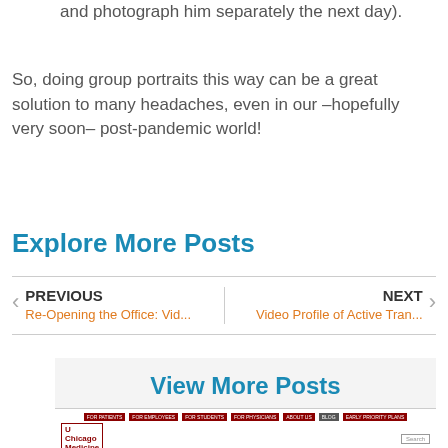and we were able to mark all of our positions and photograph him separately the next day).
So, doing group portraits this way can be a great solution to many headaches, even in our –hopefully very soon– post-pandemic world!
Explore More Posts
PREVIOUS
Re-Opening the Office: Vid...
NEXT
Video Profile of Active Tran...
[Figure (screenshot): View More Posts section with a screenshot of a UChicago Medicine website below it]